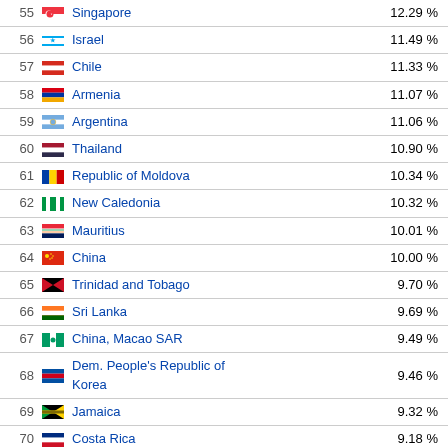| # | Flag | Country | Percentage |
| --- | --- | --- | --- |
| 55 |  | Singapore | 12.29 % |
| 56 |  | Israel | 11.49 % |
| 57 |  | Chile | 11.33 % |
| 58 |  | Armenia | 11.07 % |
| 59 |  | Argentina | 11.06 % |
| 60 |  | Thailand | 10.90 % |
| 61 |  | Republic of Moldova | 10.34 % |
| 62 |  | New Caledonia | 10.32 % |
| 63 |  | Mauritius | 10.01 % |
| 64 |  | China | 10.00 % |
| 65 |  | Trinidad and Tobago | 9.70 % |
| 66 |  | Sri Lanka | 9.69 % |
| 67 |  | China, Macao SAR | 9.49 % |
| 68 |  | Dem. People's Republic of Korea | 9.46 % |
| 69 |  | Jamaica | 9.32 % |
| 70 |  | Costa Rica | 9.18 % |
| 71 |  | Saint Lucia | 9.12 % |
| 72 |  | Guam | 9.06 % |
| 73 |  | Bahamas | 8.61 % |